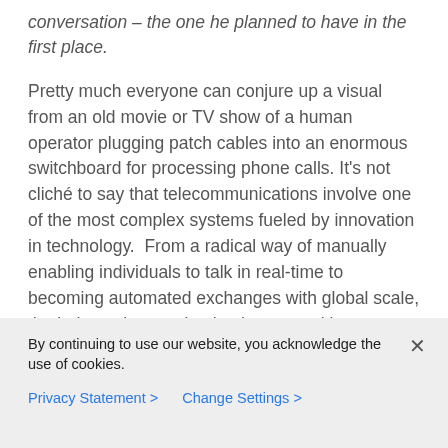conversation – the one he planned to have in the first place.
Pretty much everyone can conjure up a visual from an old movie or TV show of a human operator plugging patch cables into an enormous switchboard for processing phone calls. It's not cliché to say that telecommunications involve one of the most complex systems fueled by innovation in technology.  From a radical way of manually enabling individuals to talk in real-time to becoming automated exchanges with global scale, the industry has evolved to keep up with
By continuing to use our website, you acknowledge the use of cookies.
Privacy Statement >   Change Settings >